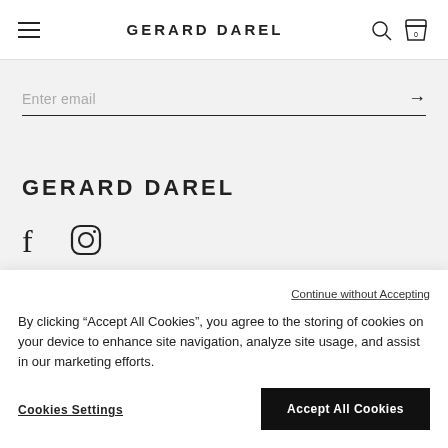GERARD DAREL
Enter email
GERARD DAREL
[Figure (logo): Facebook and Instagram social media icons]
Continue without Accepting
By clicking “Accept All Cookies”, you agree to the storing of cookies on your device to enhance site navigation, analyze site usage, and assist in our marketing efforts.
Cookies Settings
Accept All Cookies